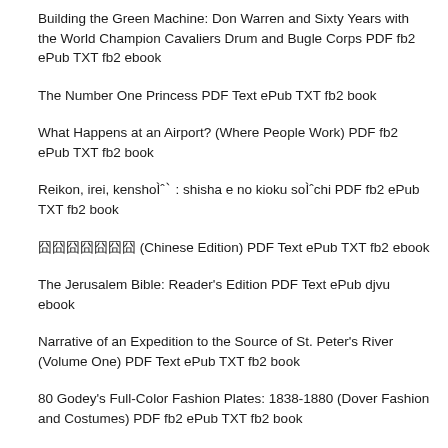Building the Green Machine: Don Warren and Sixty Years with the World Champion Cavaliers Drum and Bugle Corps PDF fb2 ePub TXT fb2 ebook
The Number One Princess PDF Text ePub TXT fb2 book
What Happens at an Airport? (Where People Work) PDF fb2 ePub TXT fb2 book
Reikon, irei, kenshoÌ‚ : shisha e no kioku soÌ‚chi PDF fb2 ePub TXT fb2 book
囧囧囧囧囧囧囧 (Chinese Edition) PDF Text ePub TXT fb2 ebook
The Jerusalem Bible: Reader's Edition PDF Text ePub djvu ebook
Narrative of an Expedition to the Source of St. Peter's River (Volume One) PDF Text ePub TXT fb2 book
80 Godey's Full-Color Fashion Plates: 1838-1880 (Dover Fashion and Costumes) PDF fb2 ePub TXT fb2 book
A Fine Balance PDF Text ePub djvu ebook